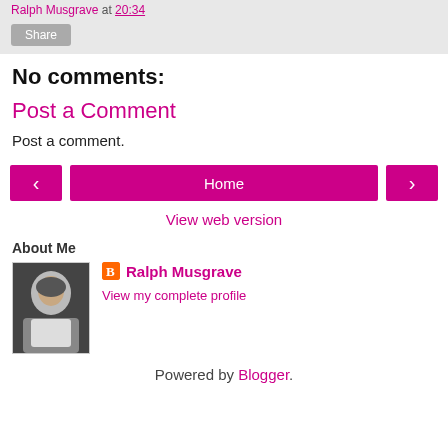Ralph Musgrave at 20:34
Share
No comments:
Post a Comment
Post a comment.
‹  Home  ›
View web version
About Me
[Figure (photo): Profile photo of Ralph Musgrave, an elderly man in a suit]
Ralph Musgrave
View my complete profile
Powered by Blogger.